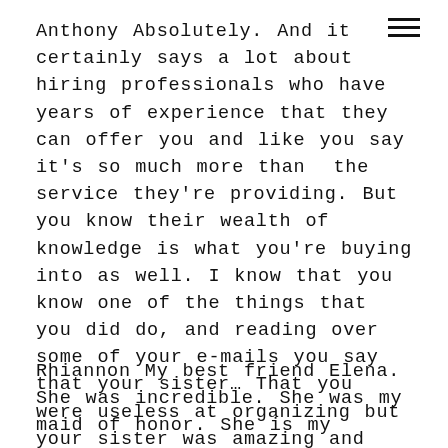Anthony Absolutely. And it certainly says a lot about hiring professionals who have years of experience that they can offer you and like you say it's so much more than  the service they're providing. But you know their wealth of knowledge is what you're buying into as well. I know that you know one of the things that you did do, and reading over some of your e-mails you say that your sister… That you were useless at organizing but your sister was amazing and she helped yourself and Youssef with this planning. How important was your sister in the end?
Rhiannon My best friend Elena. She was incredible. She was my maid of honor. She is my